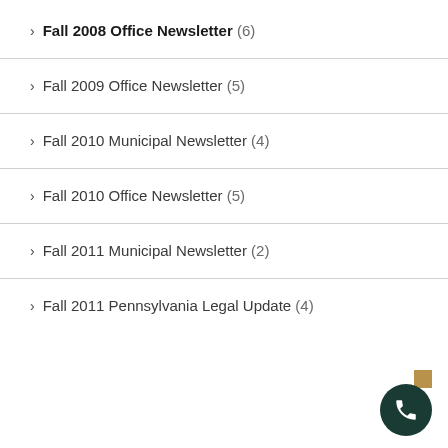Fall 2008 Office Newsletter (6)
Fall 2009 Office Newsletter (5)
Fall 2010 Municipal Newsletter (4)
Fall 2010 Office Newsletter (5)
Fall 2011 Municipal Newsletter (2)
Fall 2011 Pennsylvania Legal Update (4)